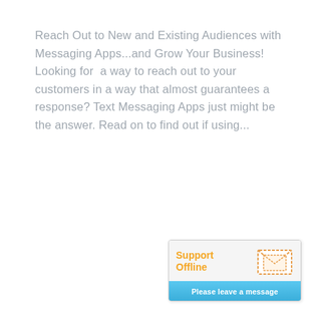Reach Out to New and Existing Audiences with Messaging Apps...and Grow Your Business! Looking for a way to reach out to your customers in a way that almost guarantees a response? Text Messaging Apps just might be the answer. Read on to find out if using...
[Figure (screenshot): Support widget showing 'Support Offline' in orange text with an envelope icon and 'Please leave a message' button in blue]